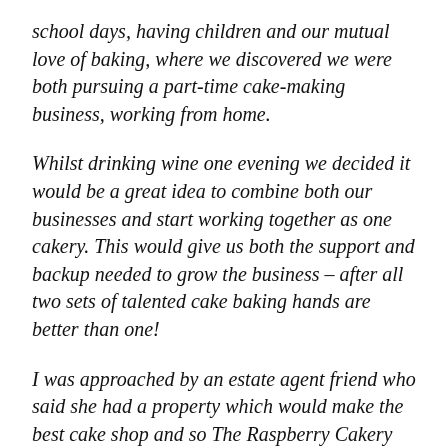school days, having children and our mutual love of baking, where we discovered we were both pursuing a part-time cake-making business, working from home.
Whilst drinking wine one evening we decided it would be a great idea to combine both our businesses and start working together as one cakery. This would give us both the support and backup needed to grow the business – after all two sets of talented cake baking hands are better than one!
I was approached by an estate agent friend who said she had a property which would make the best cake shop and so The Raspberry Cakery was born.